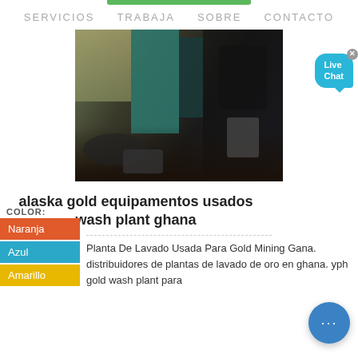SERVICIOS  TRABAJA  SOBRE  CONTACTO
[Figure (photo): Industrial mining machinery photo, dark tones with teal/green colored control panel, heavy equipment visible]
alaska gold equipamentos usados wash plant ghana
COLOR:
Naranja
Azul
Amarillo
Planta De Lavado Usada Para Gold Mining Gana. distribuidores de plantas de lavado de oro en ghana. yph gold wash plant para